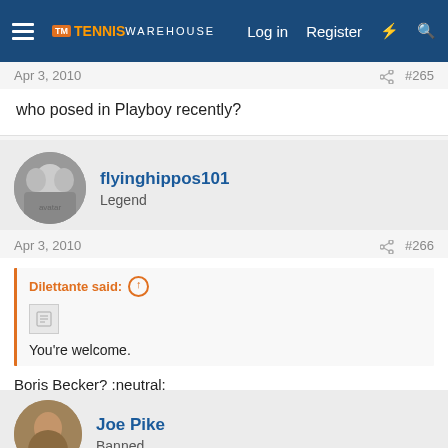Tennis Warehouse — Log in  Register
Apr 3, 2010  #265
who posed in Playboy recently?
flyinghippos101  Legend
Apr 3, 2010  #266
Dilettante said: ↑  You're welcome.
Boris Becker? :neutral:
Joe Pike  Banned